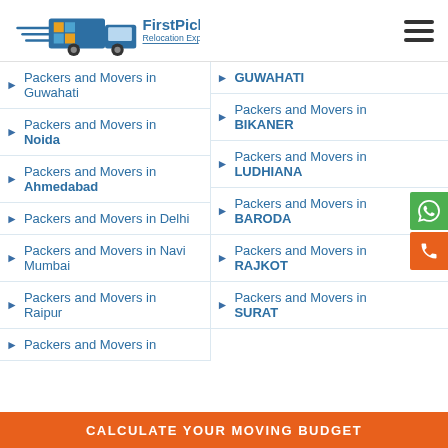FirstPick Relocation Experts
Packers and Movers in Guwahati
Packers and Movers in GUWAHATI
Packers and Movers in Noida
Packers and Movers in BIKANER
Packers and Movers in Ahmedabad
Packers and Movers in LUDHIANA
Packers and Movers in Delhi
Packers and Movers in BARODA
Packers and Movers in Navi Mumbai
Packers and Movers in RAJKOT
Packers and Movers in Raipur
Packers and Movers in SURAT
Packers and Movers in
CALCULATE YOUR MOVING BUDGET